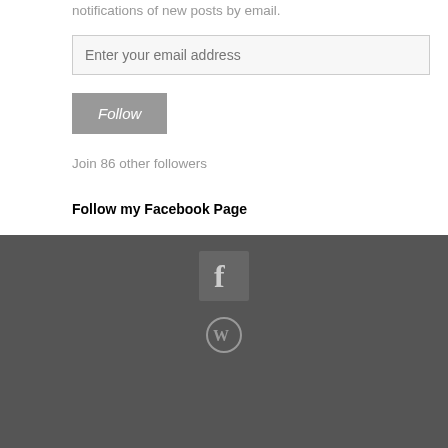notifications of new posts by email.
Enter your email address
Follow
Join 86 other followers
Follow my Facebook Page
[Figure (logo): Facebook icon - white letter f on dark grey square background]
[Figure (logo): WordPress logo - grey circle with W symbol]